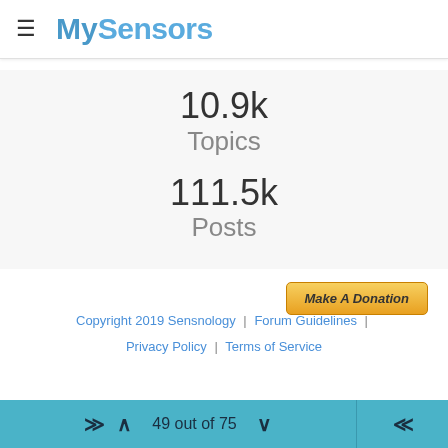MySensors
10.9k
Topics
111.5k
Posts
[Figure (other): Make A Donation button with golden/orange gradient styling]
Copyright 2019 Sensnology | Forum Guidelines | Privacy Policy | Terms of Service
49 out of 75